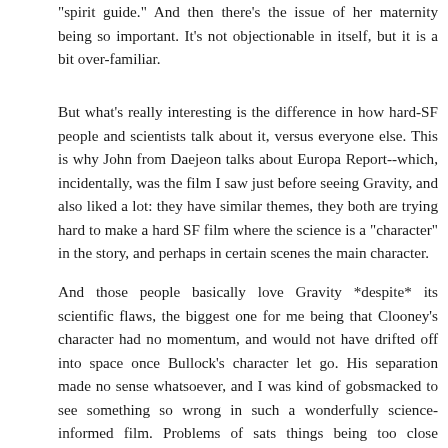"spirit guide." And then there's the issue of her maternity being so important. It's not objectionable in itself, but it is a bit over-familiar.
But what's really interesting is the difference in how hard-SF people and scientists talk about it, versus everyone else. This is why John from Daejeon talks about Europa Report--which, incidentally, was the film I saw just before seeing Gravity, and also liked a lot: they have similar themes, they both are trying hard to make a hard SF film where the science is a "character" in the story, and perhaps in certain scenes the main character.
And those people basically love Gravity *despite* its scientific flaws, the biggest one for me being that Clooney's character had no momentum, and would not have drifted off into space once Bullock's character let go. His separation made no sense whatsoever, and I was kind of gobsmacked to see something so wrong in such a wonderfully science-informed film. Problems of sats things being too close together in orbit, or the unlikelihood of the catastrophic chain reaction, I can stomach, but Clooney "falling" when there's no physics reason for it? (And surely